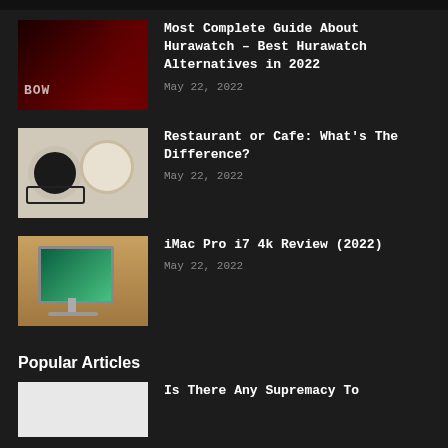[Figure (screenshot): Thumbnail image of a dark movie/streaming website with red-toned background and 'BOW' text]
Most Complete Guide About Hurawatch – Best Hurawatch Alternatives in 2022
May 22, 2022
[Figure (photo): Overhead photo of coffee cup, cupcake on plate, fork, and glasses on light surface]
Restaurant or Cafe: What's The Difference?
May 22, 2022
[Figure (photo): Photo of iMac computer on desk with green wallpaper, books and items in background]
iMac Pro i7 4k Review (2022)
May 22, 2022
Popular Articles
[Figure (photo): Thumbnail image, white/light colored]
Is There Any Supremacy To